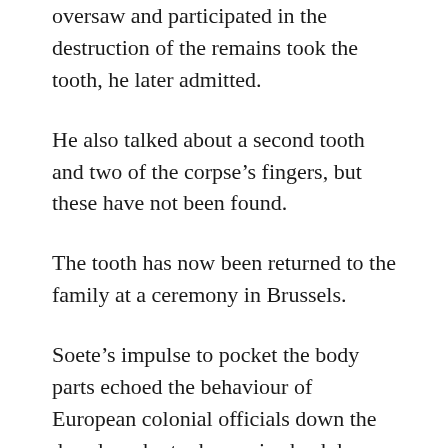oversaw and participated in the destruction of the remains took the tooth, he later admitted.
He also talked about a second tooth and two of the corpse’s fingers, but these have not been found.
The tooth has now been returned to the family at a ceremony in Brussels.
Soete’s impulse to pocket the body parts echoed the behaviour of European colonial officials down the decades who took remains back home as macabre mementoes.
… For Lumumba’s daughter, Juliana, the question is whether the perpetrators were human. “What amount of